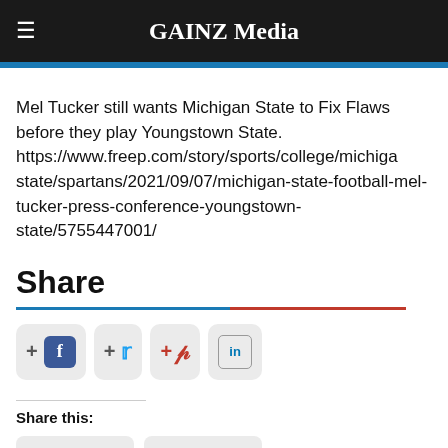GAINZ Media
Mel Tucker still wants Michigan State to Fix Flaws before they play Youngstown State. https://www.freep.com/story/sports/college/michigan-state/spartans/2021/09/07/michigan-state-football-mel-tucker-press-conference-youngstown-state/5755447001/
Share
Share this: